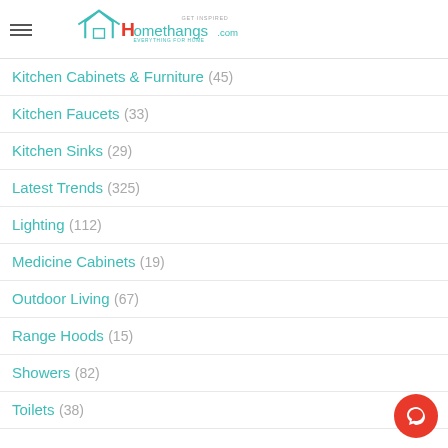Homethangs.com — Get Inspired, Everything for Home
Kitchen Cabinets & Furniture (45)
Kitchen Faucets (33)
Kitchen Sinks (29)
Latest Trends (325)
Lighting (112)
Medicine Cabinets (19)
Outdoor Living (67)
Range Hoods (15)
Showers (82)
Toilets (38)